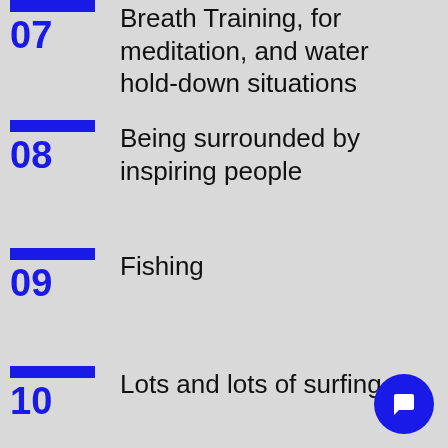07 Breath Training, for meditation, and water hold-down situations
08 Being surrounded by inspiring people
09 Fishing
10 Lots and lots of surfing